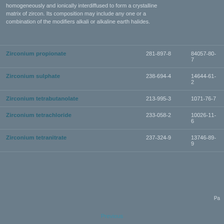homogeneously and ionically interdiffused to form a crystalline matrix of zircon. Its composition may include any one or a combination of the modifiers alkali or alkaline earth halides.
| Name | EC No. | CAS No. |
| --- | --- | --- |
| Zirconium propionate | 281-897-8 | 84057-80-7 |
| Zirconium sulphate | 238-694-4 | 14644-61-2 |
| Zirconium tetrabutanolate | 213-995-3 | 1071-76-7 |
| Zirconium tetrachloride | 233-058-2 | 10026-11-6 |
| Zirconium tetranitrate | 237-324-9 | 13746-89-9 |
Pa
Previous